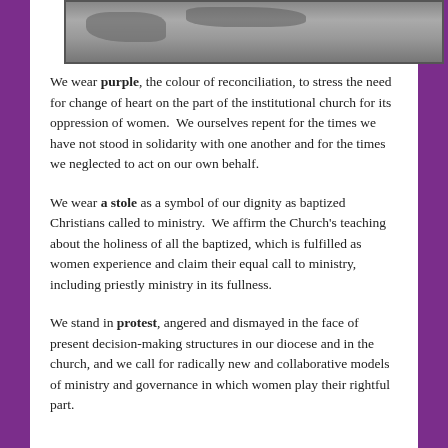[Figure (photo): Partial view of a stone or rocky surface, appears to be a textured natural scene]
We wear purple, the colour of reconciliation, to stress the need for change of heart on the part of the institutional church for its oppression of women.  We ourselves repent for the times we have not stood in solidarity with one another and for the times we neglected to act on our own behalf.
We wear a stole as a symbol of our dignity as baptized Christians called to ministry.  We affirm the Church's teaching about the holiness of all the baptized, which is fulfilled as women experience and claim their equal call to ministry, including priestly ministry in its fullness.
We stand in protest, angered and dismayed in the face of present decision-making structures in our diocese and in the church, and we call for radically new and collaborative models of ministry and governance in which women play their rightful part.